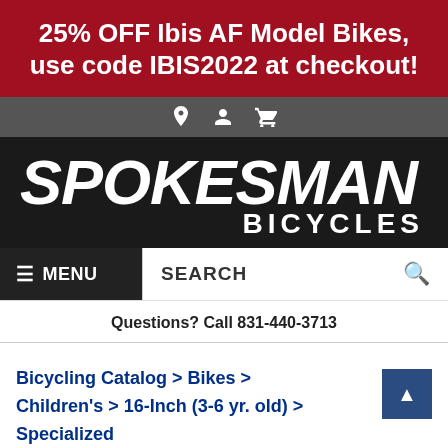25% OFF Ibis AF Model Bikes, use code IBIS2022 at checkout!
[Figure (logo): Spokesman Bicycles logo in white italic text on dark background]
≡ MENU   SEARCH 🔍
Questions? Call 831-440-3713
Bicycling Catalog > Bikes > Children's > 16-Inch (3-6 yr. old) > Specialized